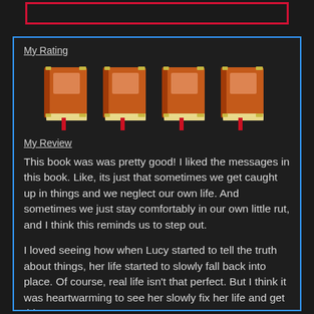[Figure (other): Empty red-bordered rectangle at top of page]
My Rating
[Figure (illustration): Four orange/brown book icons in a row representing a 4-book rating]
My Review
This book was was pretty good! I liked the messages in this book. Like, its just that sometimes we get caught up in things and we neglect our own life. And sometimes we just stay comfortably in our own little rut, and I think this reminds us to step out.
I loved seeing how when Lucy started to tell the truth about things, her life started to slowly fall back into place. Of course, real life isn't that perfect. But I think it was heartwarming to see her slowly fix her life and get things